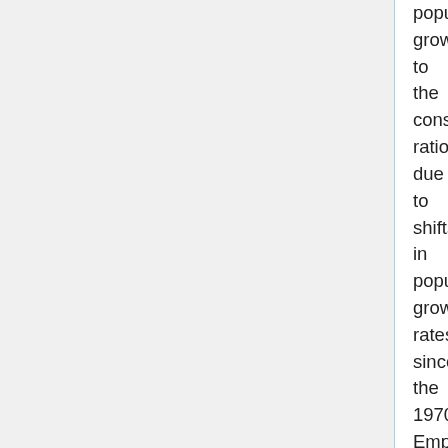population growth to the consumption/savings ratio, due to shifts in population growth rates since the 1970s. Empirical estimates show that public policy (taxes or the establishment of more complete property rights) can promote more efficient consumption and investment that are sustainable in an ecological sense; that is, given the current (relatively low) population growth rate, the Malthusian catastrophe can be avoided by either a shift in consumer preferences or public policy that induces a similar shift.
However, some contend that the Malthusian catastrophe is not imminent. A 2002 study[17] by the UN Food and Agriculture Organization predicts that world food production will be in excess of the needs of the human population by